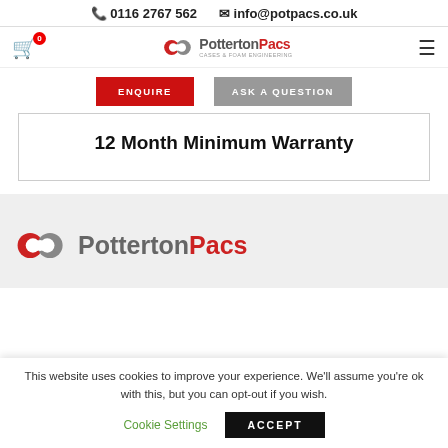📞 0116 2767 562   ✉ info@potpacs.co.uk
[Figure (logo): Potterton Pacs logo with cart icon (0), hamburger menu, and nav bar]
ENQUIRE   ASK A QUESTION
12 Month Minimum Warranty
[Figure (logo): Potterton Pacs large footer logo on grey background]
This website uses cookies to improve your experience. We'll assume you're ok with this, but you can opt-out if you wish.
Cookie Settings   ACCEPT